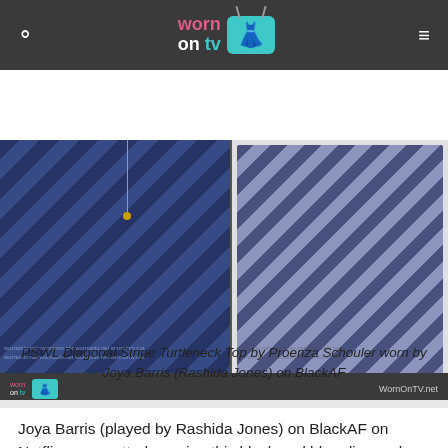worn on tv
[Figure (photo): Two-panel image: left shows a person wearing a black and blue diagonal stripe turtleneck top with a gold necklace; right shows the product shot of the same PSWL Diagonal Stripe Turtleneck Top by Proenza Schouler on a white background. Image footer shows WornOnTV logo and WornOnTV.net URL.]
PSWL Diagonal Stripe Turtleneck Top by Proenza Schouler worn by Joya Barris (Rashida Jones) on BlackAF
Joya Barris (played by Rashida Jones) on BlackAF on Netflix was spotted wearing this black and blue diagonal stripe top on BlackAF on episode 'i know this is going to sound crazy... but this, too, is because of slavery' (1x07)